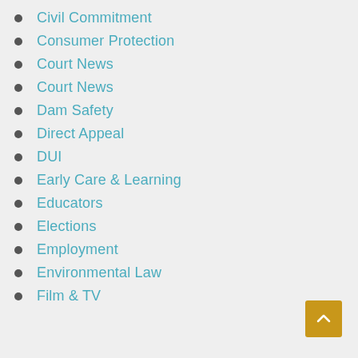Civil Commitment
Consumer Protection
Court News
Court News
Dam Safety
Direct Appeal
DUI
Early Care & Learning
Educators
Elections
Employment
Environmental Law
Film & TV